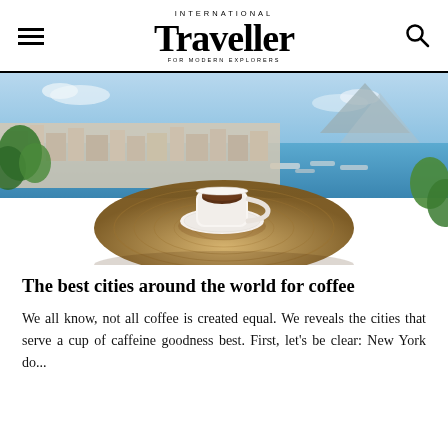INTERNATIONAL Traveller FOR MODERN EXPLORERS
[Figure (photo): A white espresso cup on a wicker table overlooking the Bay of Naples with colourful cityscape and blue sea in the background.]
The best cities around the world for coffee
We all know, not all coffee is created equal. We reveals the cities that serve a cup of caffeine goodness best. First, let's be clear: New York do...